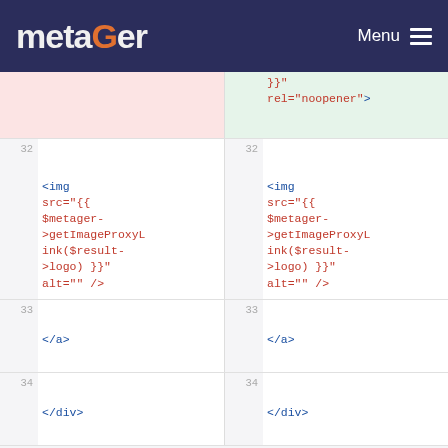metaGer  Menu
[Figure (screenshot): Code diff view showing two columns of PHP/HTML template code. Left and right panels show lines 32-34. Line 32 contains '<img src="{{ $metager->getImageProxyLink($result->logo) }}" alt="" />', line 33 contains '</a>', line 34 contains '</div>'. The top portion shows highlighted diff rows (pink/green) with '}}' and 'rel="noopener">' visible.]